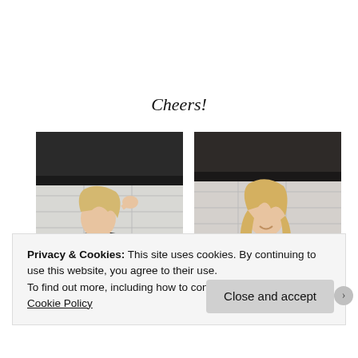Cheers!
[Figure (photo): Two side-by-side photos of a blonde woman in a bathroom holding a tray of candy/snacks. Left photo shows her with hand raised to head; right photo shows her facing camera holding snack packaging.]
Privacy & Cookies: This site uses cookies. By continuing to use this website, you agree to their use.
To find out more, including how to control cookies, see here: Cookie Policy
Close and accept